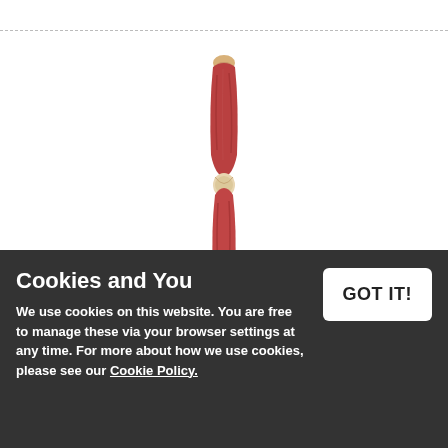[Figure (photo): Anatomical 13-Part Leg Muscle Model showing detailed musculature of a human leg with red muscles and white tendons/ligaments visible]
13-Part Leg Muscle Model
£529.99
Cookies and You
We use cookies on this website. You are free to manage these via your browser settings at any time. For more about how we use cookies, please see our Cookie Policy.
GOT IT!
of the muscles of the human legs
Removable muscles for ease of use